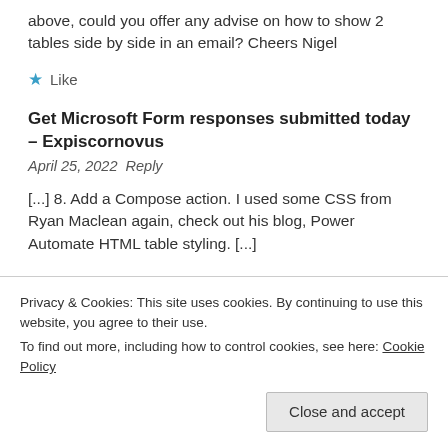above, could you offer any advise on how to show 2 tables side by side in an email? Cheers Nigel
★ Like
Get Microsoft Form responses submitted today – Expiscornovus
April 25, 2022  Reply
[...] 8. Add a Compose action. I used some CSS from Ryan Maclean again, check out his blog, Power Automate HTML table styling. [...]
Privacy & Cookies: This site uses cookies. By continuing to use this website, you agree to their use.
To find out more, including how to control cookies, see here: Cookie Policy
Close and accept